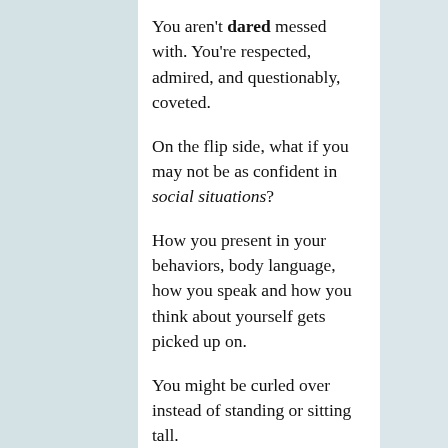You aren't dared messed with. You're respected, admired, and questionably, coveted.
On the flip side, what if you may not be as confident in social situations?
How you present in your behaviors, body language, how you speak and how you think about yourself gets picked up on.
You might be curled over instead of standing or sitting tall.